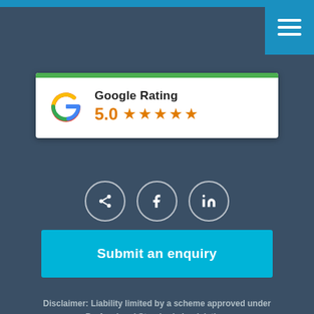[Figure (logo): Google Rating widget showing 5.0 stars with Google G logo and green top bar]
[Figure (infographic): Three circular social media icon buttons: share, Facebook, LinkedIn]
Submit an enquiry
Disclaimer: Liability limited by a scheme approved under Professional Standards Legislation.
© 2022 The Migration Agency All Rights Reserved
Privacy Statement    Legal / T+C's
Design by Five by Five